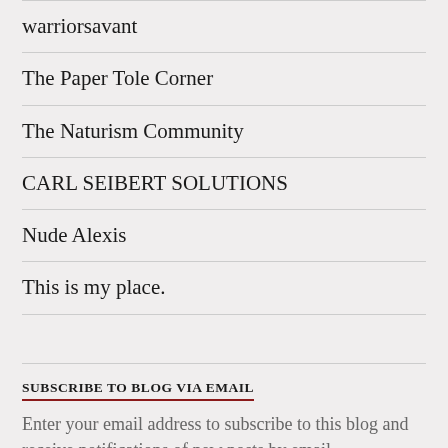warriorsavant
The Paper Tole Corner
The Naturism Community
CARL SEIBERT SOLUTIONS
Nude Alexis
This is my place.
SUBSCRIBE TO BLOG VIA EMAIL
Enter your email address to subscribe to this blog and receive notifications of new posts by email.